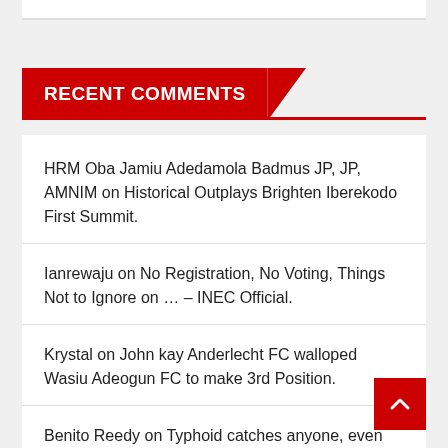RECENT COMMENTS
HRM Oba Jamiu Adedamola Badmus JP, JP, AMNIM on Historical Outplays Brighten Iberekodo First Summit.
Ianrewaju on No Registration, No Voting, Things Not to Ignore on … – INEC Official.
Krystal on John kay Anderlecht FC walloped Wasiu Adeogun FC to make 3rd Position.
Benito Reedy on Typhoid catches anyone, even children: An interview of a Medical Doctor.
Lacu listen on Predictions out on Super Eagles!